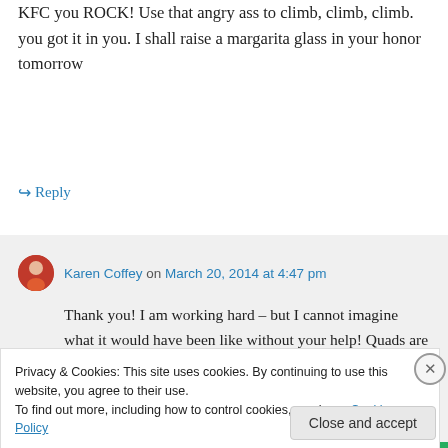KFC you ROCK! Use that angry ass to climb, climb, climb. you got it in you. I shall raise a margarita glass in your honor tomorrow
↪ Reply
Karen Coffey on March 20, 2014 at 4:47 pm
Thank you! I am working hard – but I cannot imagine what it would have been like without your help! Quads are smokin'!
Privacy & Cookies: This site uses cookies. By continuing to use this website, you agree to their use.
To find out more, including how to control cookies, see here: Cookie Policy
Close and accept